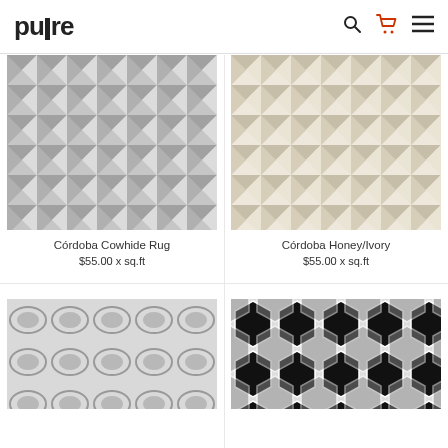pure [logo] — search, cart, menu icons
[Figure (photo): Córdoba Cowhide Rug - grey geometric triangle pattern cowhide rug]
Córdoba Cowhide Rug
$55.00 x sq.ft
[Figure (photo): Córdoba Honey/Ivory - beige/ivory geometric triangle pattern cowhide rug]
Córdoba Honey/Ivory
$55.00 x sq.ft
[Figure (photo): Grey cowhide rug with circular/oval geometric pattern - partially shown]
[Figure (photo): Black and white cowhide rug with hexagonal pattern - partially shown]